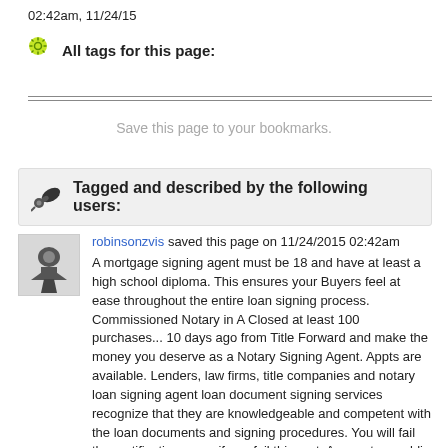02:42am, 11/24/15
All tags for this page:
Save this page to your bookmarks.
Tagged and described by the following users:
robinsonzvis saved this page on 11/24/2015 02:42am
A mortgage signing agent must be 18 and have at least a high school diploma. This ensures your Buyers feel at ease throughout the entire loan signing process. Commissioned Notary in A Closed at least 100 purchases... 10 days ago from Title Forward and make the money you deserve as a Notary Signing Agent. Appts are available. Lenders, law firms, title companies and notary loan signing agent loan document signing services recognize that they are knowledgeable and competent with the loan documents and signing procedures. You will fail the certification exam if you fail this part. As a notary public you will have more benefits because you will be trained to work with mortgage and/or title companies in assisting to close real-estate loans. We answer all emails 7 days a week, please click here Should I Save all Documents or Write Down the List of Documents I Received? Can I take the notary signing agent course? The Notary Signing